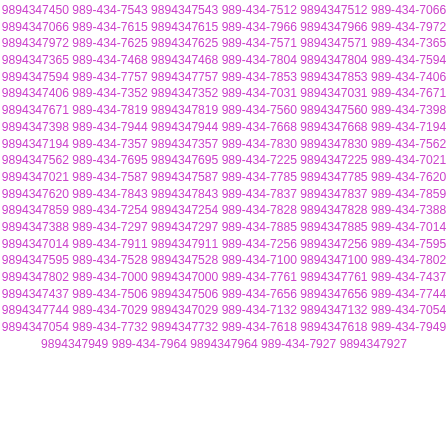9894347450 989-434-7543 9894347543 989-434-7512 9894347512 989-434-7066 9894347066 989-434-7615 9894347615 989-434-7966 9894347966 989-434-7972 9894347972 989-434-7625 9894347625 989-434-7571 9894347571 989-434-7365 9894347365 989-434-7468 9894347468 989-434-7804 9894347804 989-434-7594 9894347594 989-434-7757 9894347757 989-434-7853 9894347853 989-434-7406 9894347406 989-434-7352 9894347352 989-434-7031 9894347031 989-434-7671 9894347671 989-434-7819 9894347819 989-434-7560 9894347560 989-434-7398 9894347398 989-434-7944 9894347944 989-434-7668 9894347668 989-434-7194 9894347194 989-434-7357 9894347357 989-434-7830 9894347830 989-434-7562 9894347562 989-434-7695 9894347695 989-434-7225 9894347225 989-434-7021 9894347021 989-434-7587 9894347587 989-434-7785 9894347785 989-434-7620 9894347620 989-434-7843 9894347843 989-434-7837 9894347837 989-434-7859 9894347859 989-434-7254 9894347254 989-434-7828 9894347828 989-434-7388 9894347388 989-434-7297 9894347297 989-434-7885 9894347885 989-434-7014 9894347014 989-434-7911 9894347911 989-434-7256 9894347256 989-434-7595 9894347595 989-434-7528 9894347528 989-434-7100 9894347100 989-434-7802 9894347802 989-434-7000 9894347000 989-434-7761 9894347761 989-434-7437 9894347437 989-434-7506 9894347506 989-434-7656 9894347656 989-434-7744 9894347744 989-434-7029 9894347029 989-434-7132 9894347132 989-434-7054 9894347054 989-434-7732 9894347732 989-434-7618 9894347618 989-434-7949 9894347949 989-434-7964 9894347964 989-434-7927 9894347927